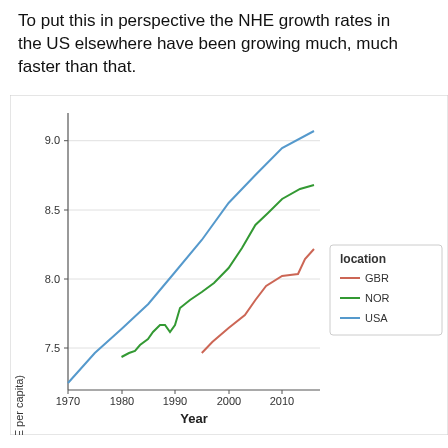To put this in perspective the NHE growth rates in the US elsewhere have been growing much, much faster than that.
[Figure (line-chart): ]